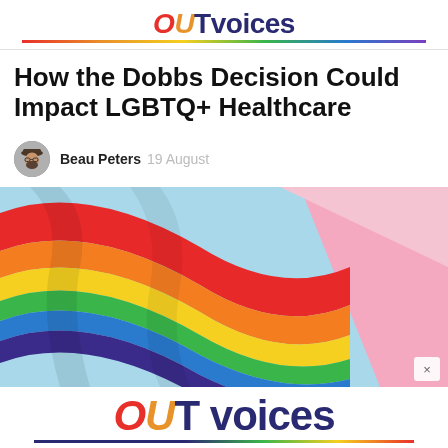OUTvoices
How the Dobbs Decision Could Impact LGBTQ+ Healthcare
Beau Peters  19 August
[Figure (photo): Close-up photograph of a rainbow Pride flag with colorful stripes (red, orange, yellow, green, blue) against a light blue and pink background. An X close button is visible in the bottom right corner.]
OUTvoices